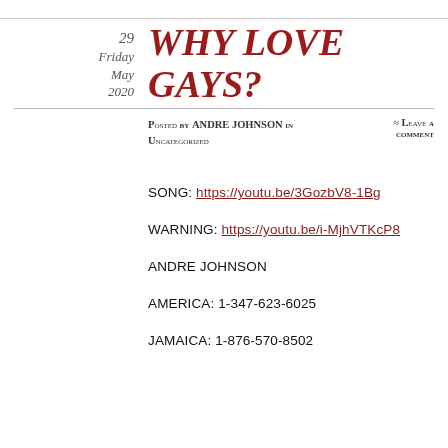WHY LOVE GAYS?
29
Friday
May
2020
Posted by ANDRE JOHNSON in UNCATEGORIZED    ≈ Leave a comment
SONG: https://youtu.be/3GozbV8-1Bg
WARNING: https://youtu.be/i-MjhVTKcP8
ANDRE JOHNSON
AMERICA: 1-347-623-6025
JAMAICA: 1-876-570-8502